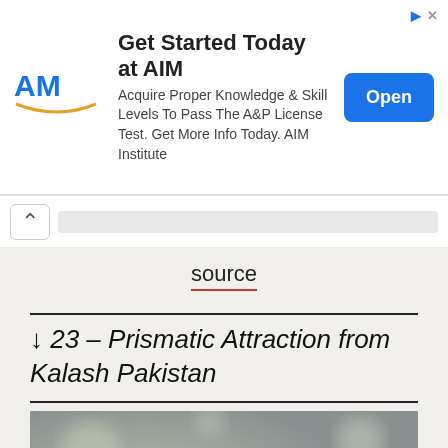[Figure (other): Advertisement banner for AIM Institute: 'Get Started Today at AIM'. Acquire Proper Knowledge & Skill Levels To Pass The A&P License Test. Get More Info Today. AIM Institute. Open button (blue).]
source
↓ 23 – Prismatic Attraction from Kalash Pakistan
[Figure (photo): Photo of a bright pink/magenta fluffy flower sitting on what appears to be a textured rock or mineral surface. The background is blurred grey/green (bokeh effect).]